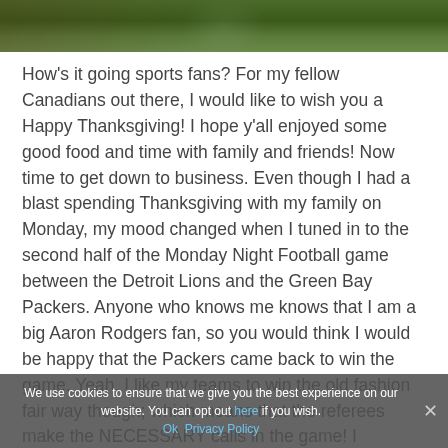[Figure (photo): Partial photo of a football player in a green jersey, cropped at the top of the page]
How's it going sports fans? For my fellow Canadians out there, I would like to wish you a Happy Thanksgiving! I hope y'all enjoyed some good food and time with family and friends! Now time to get down to business. Even though I had a blast spending Thanksgiving with my family on Monday, my mood changed when I tuned in to the second half of the Monday Night Football game between the Detroit Lions and the Green Bay Packers. Anyone who knows me knows that I am a big Aaron Rodgers fan, so you would think I would be happy that the Packers came back to win the game. Yeah, I like my teams to win the old fashion fair way though; which means that the referees make the NECESSARY calls in the game! I witnessed the unnecessary roughness call made on the Lions defense, and guys, that was
We use cookies to ensure that we give you the best experience on our website. You can opt out here if you wish.
Ok   Privacy Policy